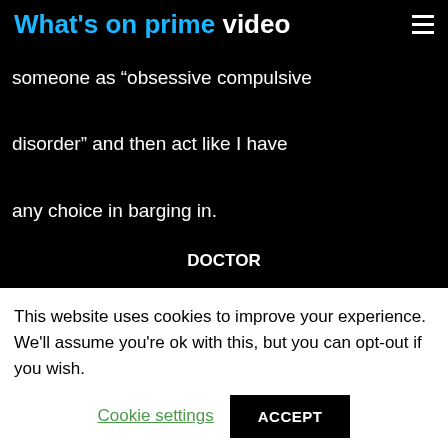What's on prime video
someone as “obsessive compulsive disorder” and then act like I have any choice in barging in.
DOCTOR
There's not going to be a debate. You must leave.
This website uses cookies to improve your experience. We'll assume you're ok with this, but you can opt-out if you wish.
Cookie settings | ACCEPT